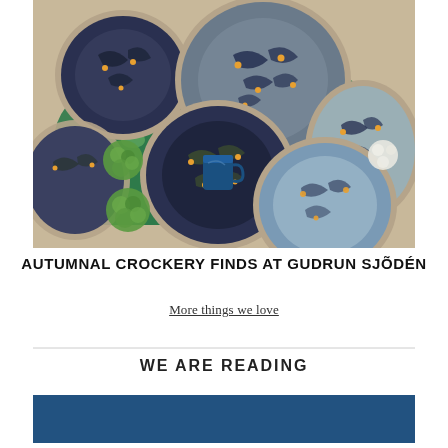[Figure (photo): Photo of decorative ceramic plates and dishes with dark navy blue and grey floral/botanical patterns and gold dot accents, arranged on a green floral-patterned tablecloth with green hydrangea flowers and white lace flowers. A blue mug sits on one of the plates in the center.]
AUTUMNAL CROCKERY FINDS AT GUDRUN SJÖDÉN
More things we love
WE ARE READING
[Figure (photo): Partially visible blue rectangular image at the bottom of the page, likely a book cover or editorial image.]